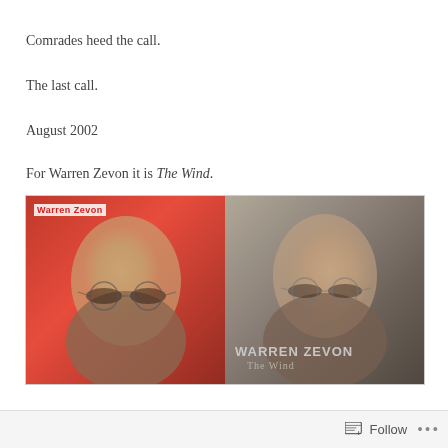Comrades heed the call.
The last call.
August 2002
For Warren Zevon it is The Wind.
[Figure (photo): Side-by-side comparison of two Warren Zevon album covers: left panel shows his early self-titled album with a young Zevon on a red background with 'Warren Zevon' text, right panel shows 'The Wind' album cover with an older Zevon on a grey/brown background with 'WARREN ZEVON The Wind' text.]
Follow ...